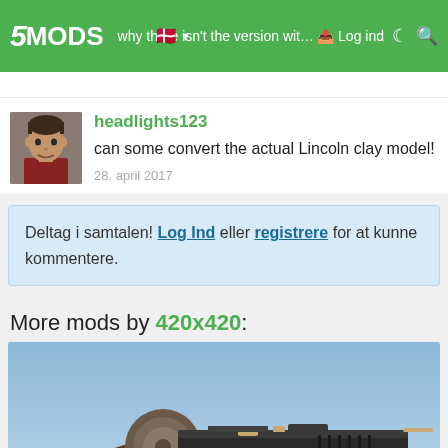5MODS | why there isn't the version with only scas and tats? | Log ind
why there isn't the version with only scas and tats?
headlights123
can some convert the actual Lincoln clay model!
28. april 2017
Deltag i samtalen! Log Ind eller registrere for at kunne kommentere.
More mods by 420x420:
[Figure (photo): Screenshot of a GTA5 mod weapon preview showing a shotgun-style weapon with drum magazine held by hands, against a sky background. Has a small X close button overlay.]